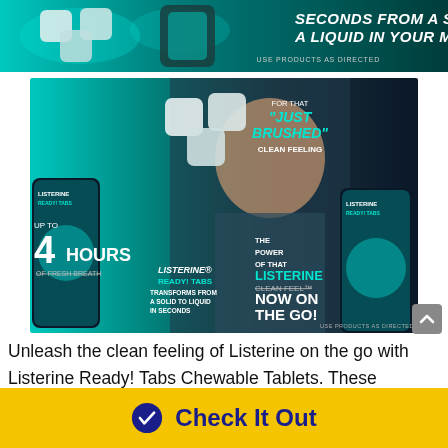[Figure (photo): Top banner advertisement for a mint tablet product showing white tablet shapes against a teal/aqua splashing water background with text 'SECONDS FROM A SOLID TO A LIQUID IN YOUR MOUTH' and 'USE PRODUCTS AS DIRECTED']
[Figure (photo): Main Listerine Ready! Tabs advertisement showing a smiling young man holding a tablet, with product packaging, text overlays including 'UP TO 4 HOURS OF FRESH BREATH', 'LISTERINE READY! TABS', 'TRANSFORMS FROM A SOLID TO LIQUID IN SECONDS', 'FOR THAT JUST BRUSHED CLEAN FEELING', 'THE POWER OF THAT LISTERINE CLEAN FEEL NOW ON THE GO!', 'USE PRODUCTS AS DIRECTED']
Unleash the clean feeling of Listerine on the go with Listerine Ready! Tabs Chewable Tablets. These revolutionary mint chewable tablets transform from solid to liquid within seconds of chewing, leaving your mouth feeling as clean as brushing and rinsing at home. Just
[Figure (infographic): Yellow 'Check It Out' call-to-action button with blue circle checkmark icon and dark blue bold text]